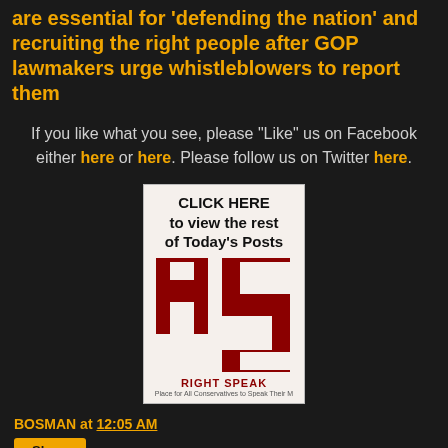are essential for 'defending the nation' and recruiting the right people after GOP lawmakers urge whistleblowers to report them
If you like what you see, please "Like" us on Facebook either here or here. Please follow us on Twitter here.
[Figure (logo): Right Speak advertisement image with red RS logo and tagline 'Place for All Conservatives to Speak Their Mind'. Text at top: CLICK HERE to view the rest of Today's Posts]
BOSMAN at 12:05 AM
Share